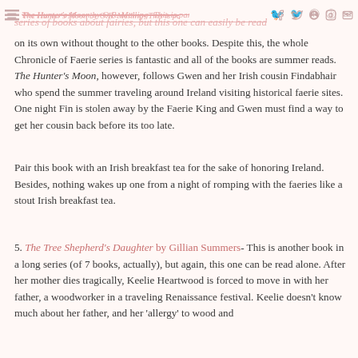The Hunter's Moon by O.R. Melling- This is part of a series of books about fairies, but this one can easily be read
on its own without thought to the other books. Despite this, the whole Chronicle of Faerie series is fantastic and all of the books are summer reads. The Hunter's Moon, however, follows Gwen and her Irish cousin Findabhair who spend the summer traveling around Ireland visiting historical faerie sites. One night Fin is stolen away by the Faerie King and Gwen must find a way to get her cousin back before its too late.
Pair this book with an Irish breakfast tea for the sake of honoring Ireland. Besides, nothing wakes up one from a night of romping with the faeries like a stout Irish breakfast tea.
5. The Tree Shepherd's Daughter by Gillian Summers- This is another book in a long series (of 7 books, actually), but again, this one can be read alone. After her mother dies tragically, Keelie Heartwood is forced to move in with her father, a woodworker in a traveling Renaissance festival. Keelie doesn't know much about her father, and her 'allergy' to wood and